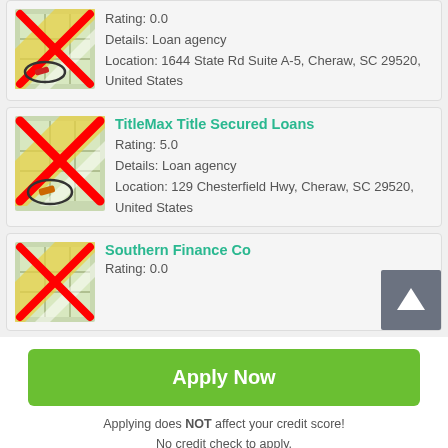[Figure (other): Map pin icon with red X overlay for first listing (partial, top of page)]
Rating: 0.0
Details: Loan agency
Location: 1644 State Rd Suite A-5, Cheraw, SC 29520, United States
[Figure (other): Map pin icon with red X overlay for TitleMax listing]
TitleMax Title Secured Loans
Rating: 5.0
Details: Loan agency
Location: 129 Chesterfield Hwy, Cheraw, SC 29520, United States
[Figure (other): Map pin icon with red X overlay for Southern Finance Co listing]
Southern Finance Co
Rating: 0.0
[Figure (other): Scroll up arrow button (grey square with white up arrow)]
Apply Now
Applying does NOT affect your credit score!
No credit check to apply.